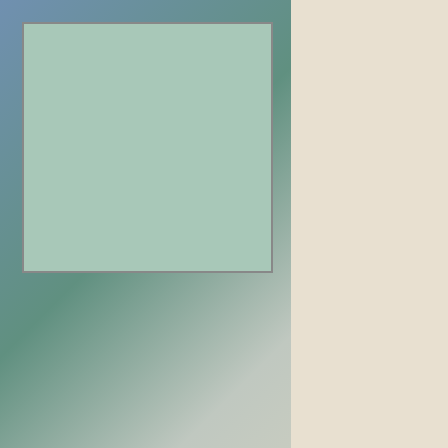A Local Dental Directory Service from IDA & 1stDentist
| Thu. | 9am - 12pm | 1pm - 5pm |
| Fri. | 9am - 12pm | 1pm - 5pm |
| Sat. | Special HRS | Special HRS |
| Sun. | Closed | Closed |
Appointment Phone:
(888) 726-0259
Make Online Appointment
[Figure (photo): Interior photo of a dental office waiting room with large windows showing trees and outdoor scenery outside]